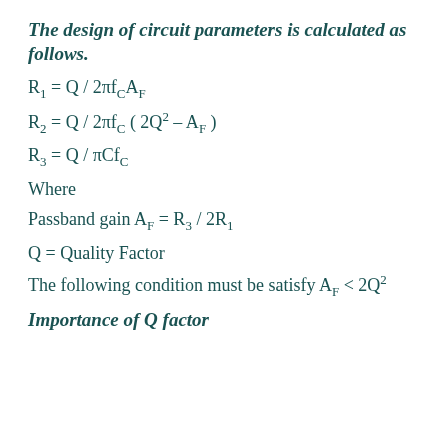The design of circuit parameters is calculated as follows.
Where
Passband gain A_F = R_3 / 2R_1
Q = Quality Factor
The following condition must be satisfy A_F < 2Q²
Importance of Q factor